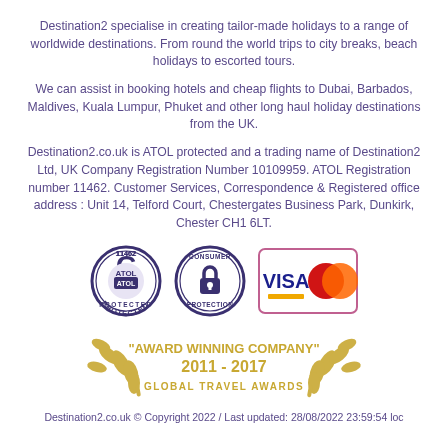Destination2 specialise in creating tailor-made holidays to a range of worldwide destinations. From round the world trips to city breaks, beach holidays to escorted tours.
We can assist in booking hotels and cheap flights to Dubai, Barbados, Maldives, Kuala Lumpur, Phuket and other long haul holiday destinations from the UK.
Destination2.co.uk is ATOL protected and a trading name of Destination2 Ltd, UK Company Registration Number 10109959. ATOL Registration number 11462. Customer Services, Correspondence & Registered office address : Unit 14, Telford Court, Chestergates Business Park, Dunkirk, Chester CH1 6LT.
[Figure (logo): ATOL Protected badge (number 11462), Consumer Protection padlock badge, and Visa/MasterCard payment logos]
[Figure (illustration): Award Winning Company 2011-2017 Global Travel Awards badge with golden laurel wreaths]
Destination2.co.uk © Copyright 2022 / Last updated: 28/08/2022 23:59:54 loc